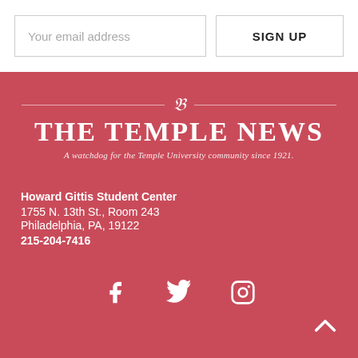Your email address
SIGN UP
[Figure (logo): The Temple News logo with decorative T icon and horizontal rules, with tagline 'A watchdog for the Temple University community since 1921.']
Howard Gittis Student Center
1755 N. 13th St., Room 243
Philadelphia, PA, 19122
215-204-7416
[Figure (other): Social media icons: Facebook, Twitter, Instagram, and a back-to-top chevron arrow]